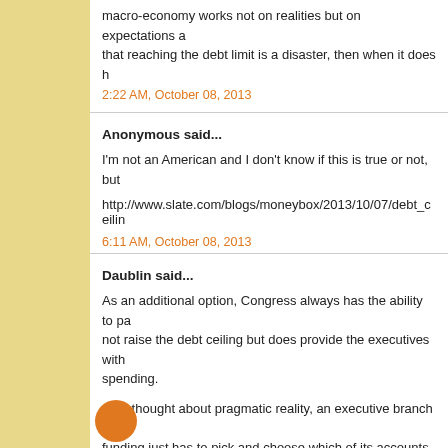macro-economy works not on realities but on expectations a... that reaching the debt limit is a disaster, then when it does h...
2:22 AM, October 08, 2013
Anonymous said...
I'm not an American and I don't know if this is true or not, but...
http://www.slate.com/blogs/moneybox/2013/10/07/debt_ceilin...
6:11 AM, October 08, 2013
Daublin said...
As an additional option, Congress always has the ability to pa... not raise the debt ceiling but does provide the executives with... spending.
As a thought about pragmatic reality, an executive branch rec... funding just has to pick and choose which of its accounts it w... mandates are not mandates.
6:39 AM, October 08, 2013
lelnet said...